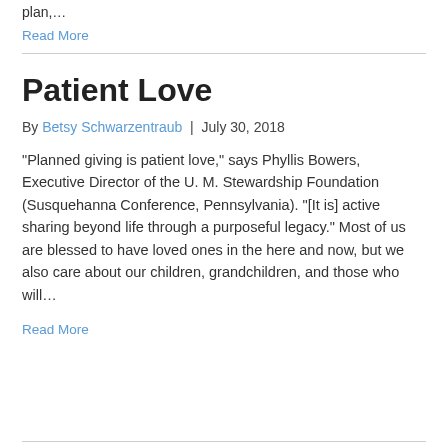plan,…
Read More
Patient Love
By Betsy Schwarzentraub | July 30, 2018
“Planned giving is patient love,” says Phyllis Bowers, Executive Director of the U. M. Stewardship Foundation (Susquehanna Conference, Pennsylvania). “[It is] active sharing beyond life through a purposeful legacy.” Most of us are blessed to have loved ones in the here and now, but we also care about our children, grandchildren, and those who will…
Read More